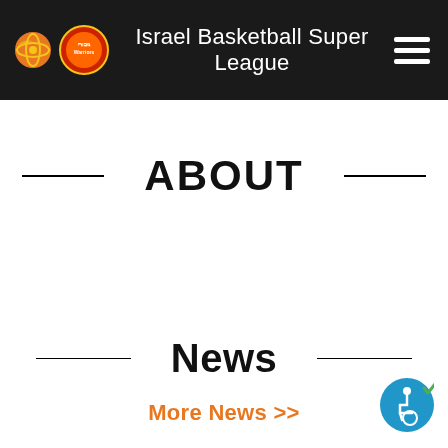Israel Basketball Super League
ABOUT
News
More News >>